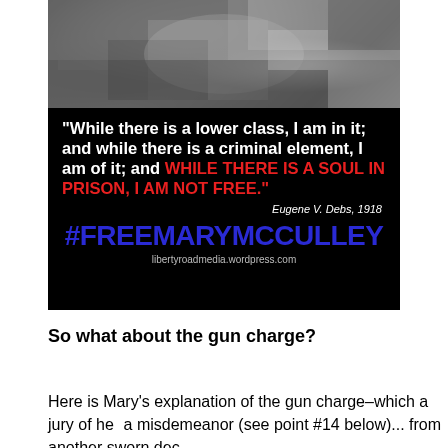[Figure (illustration): A black and white photo of hands at top, overlaid with a black background quote box reading: 'While there is a lower class, I am in it; and while there is a criminal element, I am of it; and WHILE THERE IS A SOUL IN PRISON, I AM NOT FREE.' attributed to Eugene V. Debs, 1918. Below the quote is the hashtag #FREEMARYMCCULLEY in bold blue text, and a website libertyroadmedia.wordpress.com.]
So what about the gun charge?
Here is Mary's explanation of the gun charge–which a jury of he... a misdemeanor (see point #14 below)... from another sworn dec...